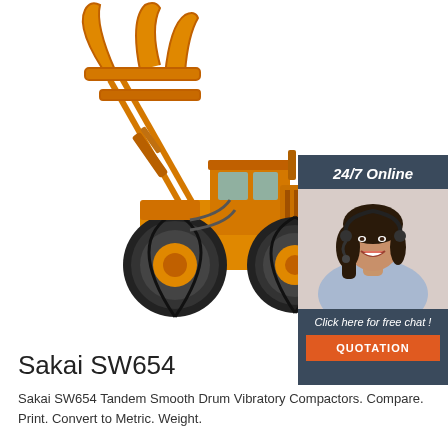[Figure (photo): Large orange wheel loader / log handler with grapple attachment, shown on white background. A customer service representative (woman with headset, smiling) appears in a sidebar widget on the right side labeled '24/7 Online' with a 'Click here for free chat!' message and orange QUOTATION button.]
Sakai SW654
Sakai SW654 Tandem Smooth Drum Vibratory Compactors. Compare. Print. Convert to Metric. Weight.